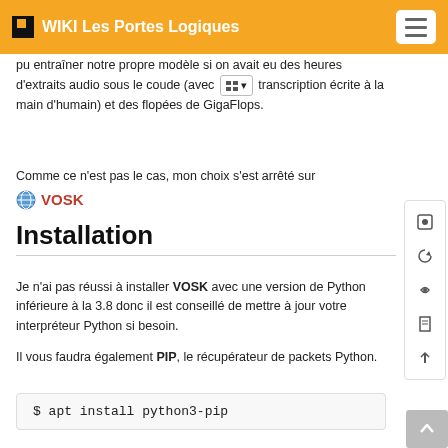WIKI Les Portes Logiques
pu entraîner notre propre modèle si on avait eu des heures d'extraits audio sous le coude (avec transcription écrite à la main d'humain) et des flopées de GigaFlops.
Comme ce n'est pas le cas, mon choix s'est arrêté sur VOSK
Installation
Je n'ai pas réussi à installer VOSK avec une version de Python inférieure à la 3.8 donc il est conseillé de mettre à jour votre interpréteur Python si besoin.
Il vous faudra également PIP, le récupérateur de packets Python.
$ apt install python3-pip